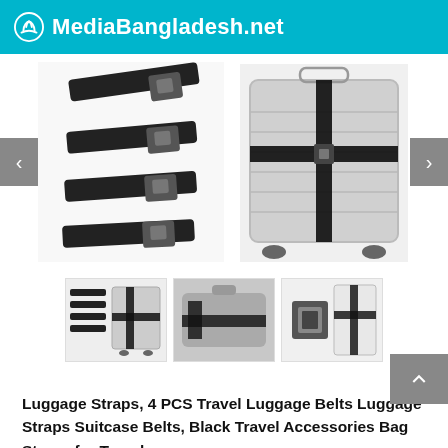MediaBangladesh.net
[Figure (photo): Carousel of luggage strap product images. Left image shows 3 black luggage straps with buckles. Right image shows a silver rolling suitcase with black cross-strap applied. Navigation arrows on left and right.]
[Figure (photo): Three product thumbnail images: (1) black luggage straps set with suitcase, (2) luggage straps in use on luggage, (3) close-up of buckle and white suitcase with cross strap.]
Luggage Straps, 4 PCS Travel Luggage Belts Luggage Straps Suitcase Belts, Black Travel Accessories Bag Straps for Travel...
Amazon.com Price: $8.99 (as of 07/09/2021 15:22 PST- Details)